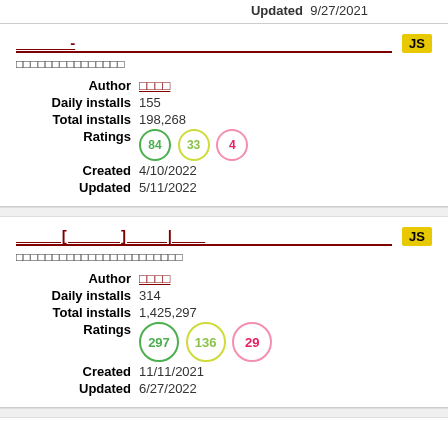Updated   9/27/2021
- [JS badge]
□□□□□□□□□□□□□□□
| Field | Value |
| --- | --- |
| Author | □□□□ |
| Daily installs | 155 |
| Total installs | 198,268 |
| Ratings | 84 33 4 |
| Created | 4/10/2022 |
| Updated | 5/11/2022 |
[ ] | [JS badge]
□□□□□□□□□□□□□□□□□□□□□□□
| Field | Value |
| --- | --- |
| Author | □□□□ |
| Daily installs | 314 |
| Total installs | 1,425,297 |
| Ratings | 297 136 29 |
| Created | 11/11/2021 |
| Updated | 6/27/2022 |